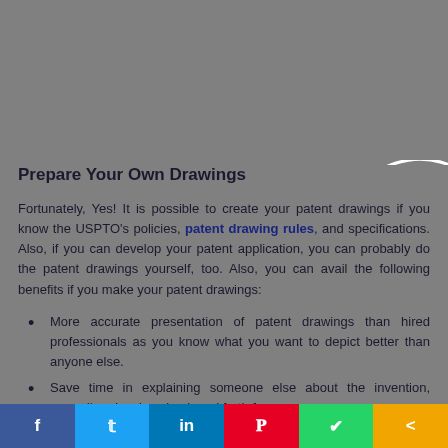Prepare Your Own Drawings
Fortunately, Yes! It is possible to create your patent drawings if you know the USPTO's policies, patent drawing rules, and specifications. Also, if you can develop your patent application, you can probably do the patent drawings yourself, too. Also, you can avail the following benefits if you make your patent drawings:
More accurate presentation of patent drawings than hired professionals as you know what you want to depict better than anyone else.
Save time in explaining someone else about the invention, preceding drawings back and forth for…